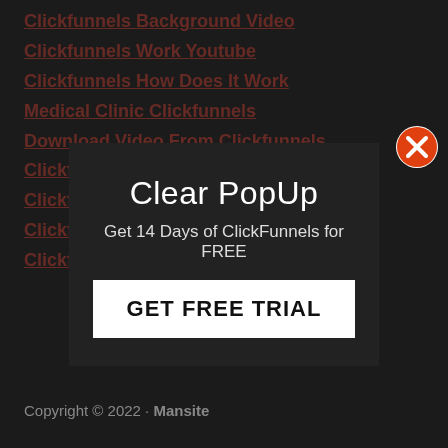Clickfunnels Background Video
Clickfunnels Work Youtube
Clickfunnels How Does It Work
Medical Clinic Clickfunnels
Download Video From Clickfunnels
Clickfunnels Stripe Integration
Clickfunnels Ac...
Clickfunn...
Clickfunnels Creation Service
[Figure (screenshot): A popup overlay with title 'Clear PopUp', subtitle 'Get 14 Days of ClickFunnels for FREE', a GET FREE TRIAL button, and an X close button in the top-right corner.]
Copyright © 2022 · Mansite